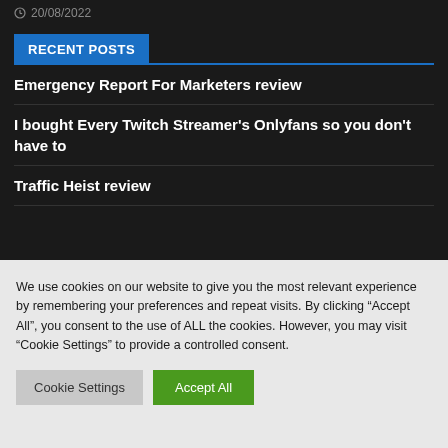20/08/2022
RECENT POSTS
Emergency Report For Marketers review
I bought Every Twitch Streamer's Onlyfans so you don't have to
Traffic Heist review
We use cookies on our website to give you the most relevant experience by remembering your preferences and repeat visits. By clicking “Accept All”, you consent to the use of ALL the cookies. However, you may visit “Cookie Settings” to provide a controlled consent.